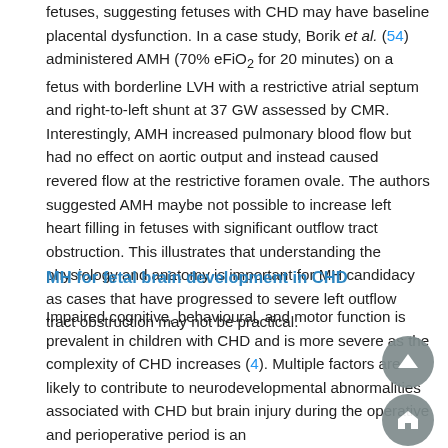fetuses, suggesting fetuses with CHD may have baseline placental dysfunction. In a case study, Borik et al. (54) administered AMH (70% eFiO₂ for 20 minutes) on a fetus with borderline LVH with a restrictive atrial septum and right-to-left shunt at 37 GW assessed by CMR. Interestingly, AMH increased pulmonary blood flow but had no effect on aortic output and instead caused revered flow at the restrictive foramen ovale. The authors suggested AMH maybe not possible to increase left heart filling in fetuses with significant outflow tract obstruction. This illustrates that understanding the physiology and anatomy is important for MH candidacy as cases that have progressed to severe left outflow tract obstruction may not be practical.
MH for fetal brain development in CHD
Impaired cognitive, behavioural, and motor function is prevalent in children with CHD and is more severe as the complexity of CHD increases (4). Multiple factors are likely to contribute to neurodevelopmental abnormalities associated with CHD but brain injury during the operative and perioperative period is an